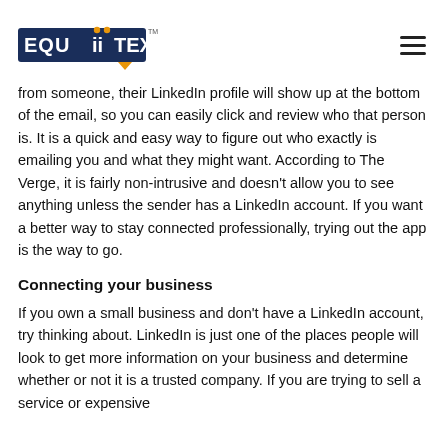[Figure (logo): EquiiText logo with orange dots above i letters, dark navy text, and orange speech bubble accent, with TM mark]
from someone, their LinkedIn profile will show up at the bottom of the email, so you can easily click and review who that person is. It is a quick and easy way to figure out who exactly is emailing you and what they might want. According to The Verge, it is fairly non-intrusive and doesn't allow you to see anything unless the sender has a LinkedIn account. If you want a better way to stay connected professionally, trying out the app is the way to go.
Connecting your business
If you own a small business and don't have a LinkedIn account, try thinking about. LinkedIn is just one of the places people will look to get more information on your business and determine whether or not it is a trusted company. If you are trying to sell a service or expensive